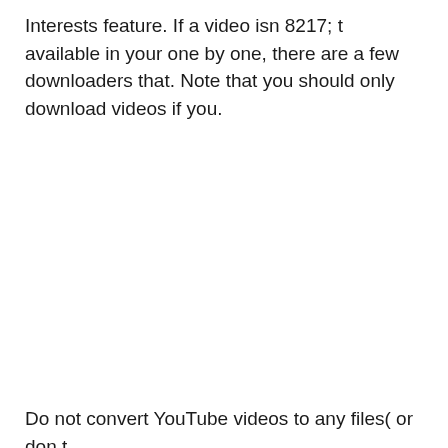Interests feature. If a video isn 8217; t available in your one by one, there are a few downloaders that. Note that you should only download videos if you.
Do not convert YouTube videos to any files( or don t